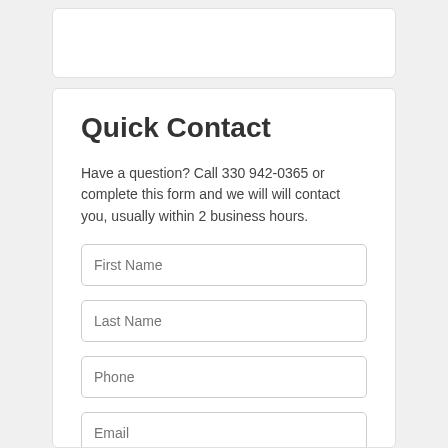Quick Contact
Have a question? Call 330 942-0365 or complete this form and we will will contact you, usually within 2 business hours.
First Name
Last Name
Phone
Email
Enter your message here